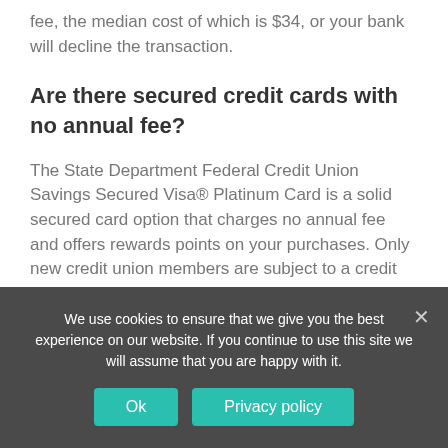fee, the median cost of which is $34, or your bank will decline the transaction.
Are there secured credit cards with no annual fee?
The State Department Federal Credit Union Savings Secured Visa® Platinum Card is a solid secured card option that charges no annual fee and offers rewards points on your purchases. Only new credit union members are subject to a credit check at application. Earn 1X Flexpoint per dollar spent on net purchases made with your Platinum card
We use cookies to ensure that we give you the best experience on our website. If you continue to use this site we will assume that you are happy with it.